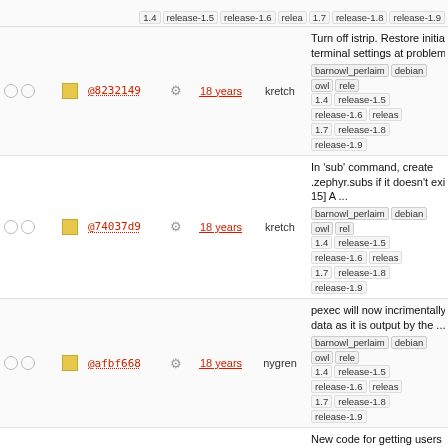|  |  | hash |  | age | author | description |
| --- | --- | --- | --- | --- | --- | --- |
|  |  | @8232149 | ⚙ | 18 years | kretch | Turn off istrip. Restore initial terminal settings at problem exi... barnowl_perlaim debian owl rel... 1.4 release-1.5 release-1.6 releas... 1.7 release-1.8 release-1.9 |
|  |  | @74037d9 | ⚙ | 18 years | kretch | In 'sub' command, create .zephyr.subs if it doesn't exist [B 15] A ... barnowl_perlaim debian owl rel... 1.4 release-1.5 release-1.6 releas... 1.7 release-1.8 release-1.9 |
|  |  | @afbf668 | ⚙ | 18 years | nygren | pexec will now incrimentally dis data as it is output by the ... barnowl_perlaim debian owl rel... 1.4 release-1.5 release-1.6 releas... 1.7 release-1.8 release-1.9 |
|  |  | @5a95b69 | ⚙ | 19 years | kretch | New code for getting users from .anyfile Added the 'pseudologin... barnowl_perlaim debian owl rel... 1.4 release-1.5 release-1.6 releas... 1.7 release-1.8 release-1.9 |
|  |  | @c9e72d1 | ⚙ | 19 years | nygren | Catch SIGPIPE and print an err rather than crashing. [It's ... barnowl_perlaim debian owl rel... 1.4 release-1.5 release-1.6 releas... 1.7 release-1.8 release-1.9 |
|  |  | @5a9f6fe | ⚙ | 19 years | kretch | Command history now doesn't allow the most recent entry to be repeated ... barnowl_perlaim debian owl rel... 1.4 release-1.5 release-1.6 releas... 1.7 release-1.8 release-1.9 |